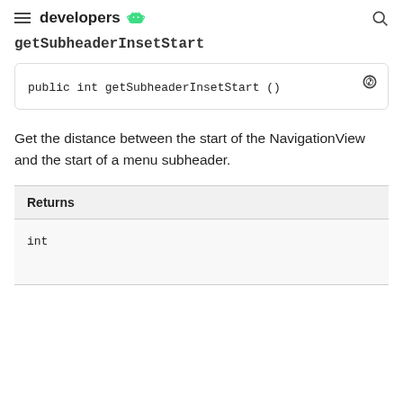developers
getSubheaderInsetStart
public int getSubheaderInsetStart ()
Get the distance between the start of the NavigationView and the start of a menu subheader.
| Returns |
| --- |
| int |